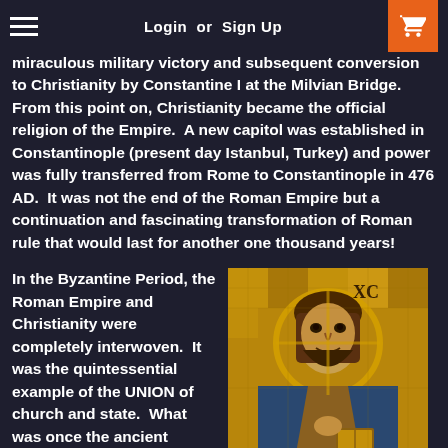Login or Sign Up
miraculous military victory and subsequent conversion to Christianity by Constantine I at the Milvian Bridge. From this point on, Christianity became the official religion of the Empire. A new capitol was established in Constantinople (present day Istanbul, Turkey) and power was fully transferred from Rome to Constantinople in 476 AD. It was not the end of the Roman Empire but a continuation and fascinating transformation of Roman rule that would last for another one thousand years!
In the Byzantine Period, the Roman Empire and Christianity were completely interwoven. It was the quintessential example of the UNION of church and state. What was once the ancient world's greatest enemy of the faith, overnight became its most devoted advocate. The classic architecture, style of dress, and overall appearance
[Figure (photo): Byzantine mosaic depicting Christ Pantocrator with golden background, halo, and blue/gold robes, holding a book]